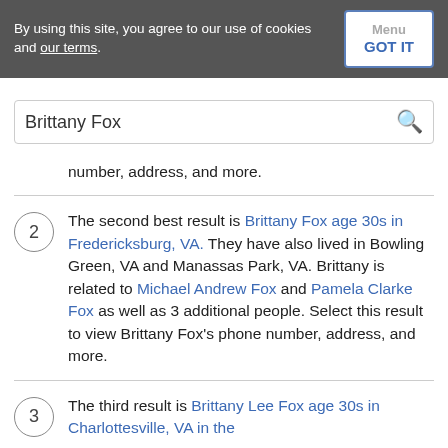By using this site, you agree to our use of cookies and our terms. GOT IT
Brittany Fox
number, address, and more.
2 The second best result is Brittany Fox age 30s in Fredericksburg, VA. They have also lived in Bowling Green, VA and Manassas Park, VA. Brittany is related to Michael Andrew Fox and Pamela Clarke Fox as well as 3 additional people. Select this result to view Brittany Fox's phone number, address, and more.
3 The third result is Brittany Lee Fox age 30s in Charlottesville, VA in the...